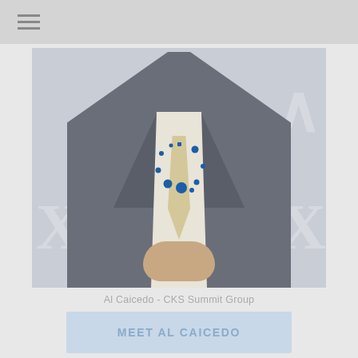≡ (hamburger menu icon)
[Figure (photo): A man in a dark suit with a light tie, hands clasped in front, standing against a background with stylized X letter graphics. A loading spinner (circular dots in blue) is overlaid in the center of the image.]
Al Caicedo - CKS Summit Group
MEET AL CAICEDO